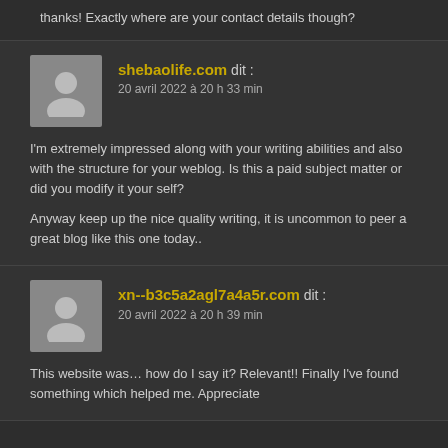thanks! Exactly where are your contact details though?
shebaolife.com dit :
20 avril 2022 à 20 h 33 min
I'm extremely impressed along with your writing abilities and also with the structure for your weblog. Is this a paid subject matter or did you modify it your self?

Anyway keep up the nice quality writing, it is uncommon to peer a great blog like this one today..
xn--b3c5a2agl7a4a5r.com dit :
20 avril 2022 à 20 h 39 min
This website was… how do I say it? Relevant!! Finally I've found something which helped me. Appreciate